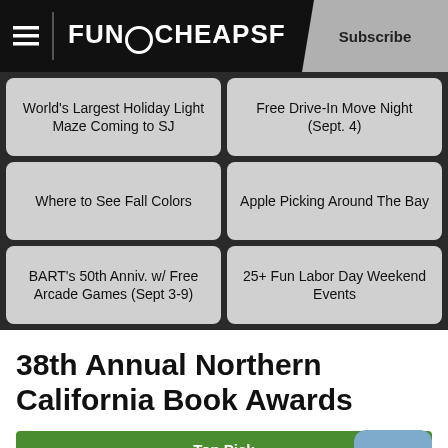FunCheapSF — Subscribe
World's Largest Holiday Light Maze Coming to SJ
Free Drive-In Move Night (Sept. 4)
Where to See Fall Colors
Apple Picking Around The Bay
BART's 50th Anniv. w/ Free Arcade Games (Sept 3-9)
25+ Fun Labor Day Weekend Events
38th Annual Northern California Book Awards
Top Pick
Sunday, June 23, 2019 – 1:00 pm
Koret Auditorium | 100 Larkin St, San Francisco, CA 941…
Civic Center, San Francisco